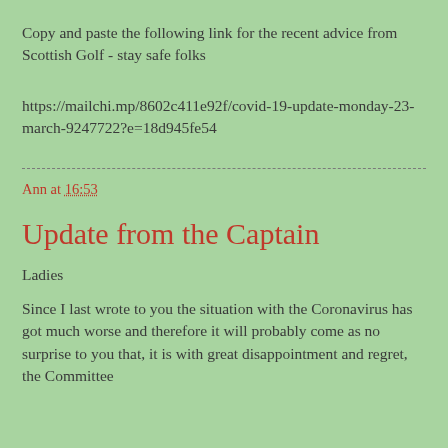Copy and paste the following link for the recent advice from Scottish Golf - stay safe folks
https://mailchi.mp/8602c411e92f/covid-19-update-monday-23-march-9247722?e=18d945fe54
Ann at 16:53
Update from the Captain
Ladies
Since I last wrote to you the situation with the Coronavirus has got much worse and therefore it will probably come as no surprise to you that, it is with great disappointment and regret, the Committee